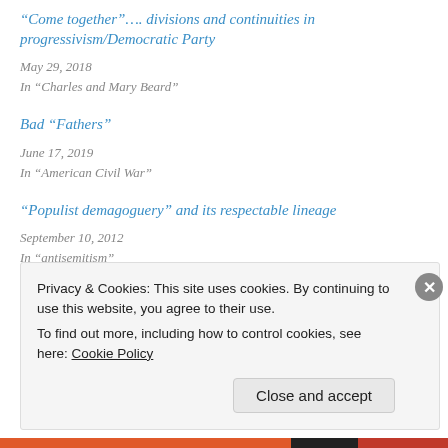“Come together”…. divisions and continuities in progressivism/Democratic Party
May 29, 2018
In “Charles and Mary Beard”
Bad “Fathers”
June 17, 2019
In “American Civil War”
“Populist demagoguery” and its respectable lineage
September 10, 2012
In “antisemitism”
Privacy & Cookies: This site uses cookies. By continuing to use this website, you agree to their use.
To find out more, including how to control cookies, see here: Cookie Policy